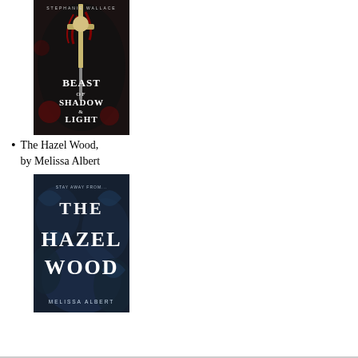[Figure (illustration): Book cover of 'Beast of Shadow & Light' by Stephanie Wallace — dark background with roses, a sword, and red feathers; white fantasy title text]
The Hazel Wood, by Melissa Albert
[Figure (illustration): Book cover of 'The Hazel Wood' by Melissa Albert — dark blue background with leaves/flowers, large white decorative title text 'THE HAZEL WOOD', subtitle 'STAY AWAY FROM', author name at bottom]